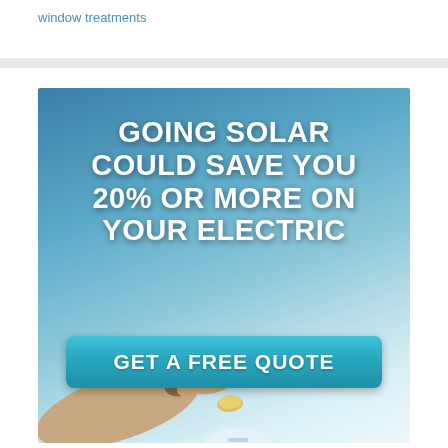window treatments
[Figure (infographic): Solar energy advertisement showing bold white text 'GOING SOLAR COULD SAVE YOU 20% OR MORE ON YOUR ELECTRIC' on a blue gradient background, with a hand inserting a coin into a piggy bank, and a teal 'GET A FREE QUOTE' button.]